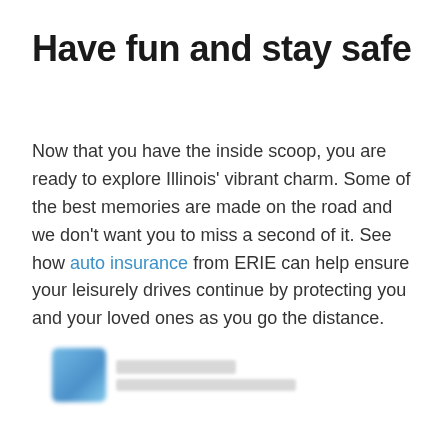Have fun and stay safe
Now that you have the inside scoop, you are ready to explore Illinois' vibrant charm. Some of the best memories are made on the road and we don't want you to miss a second of it. See how auto insurance from ERIE can help ensure your leisurely drives continue by protecting you and your loved ones as you go the distance.
[Figure (logo): Blurred logo icon with blue square and redacted text lines below]